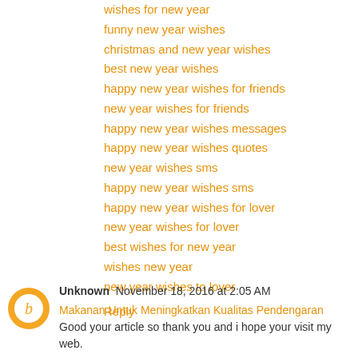wishes for new year
funny new year wishes
christmas and new year wishes
best new year wishes
happy new year wishes for friends
new year wishes for friends
happy new year wishes messages
happy new year wishes quotes
new year wishes sms
happy new year wishes sms
happy new year wishes for lover
new year wishes for lover
best wishes for new year
wishes new year
new year wishes to lover
Reply
Unknown  November 18, 2016 at 2:05 AM
Makanan Untuk Meningkatkan Kualitas Pendengaran Good your article so thank you and i hope your visit my web.